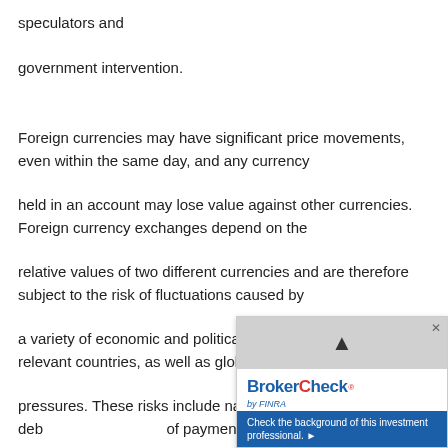speculators and
government intervention.
Foreign currencies may have significant price movements, even within the same day, and any currency
held in an account may lose value against other currencies. Foreign currency exchanges depend on the
relative values of two different currencies and are therefore subject to the risk of fluctuations caused by
a variety of economic and political factors in each of the two relevant countries, as well as global
pressures. These risks include national debt levels, trade deficits and balances of payments, domestic and